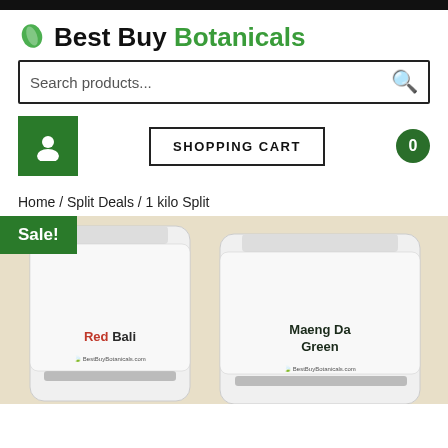Best Buy Botanicals
Search products...
SHOPPING CART
Home / Split Deals / 1 kilo Split
Sale!
[Figure (photo): Two white resealable pouches on a beige background. Left pouch labeled 'Red Bali' with red and green text and BestBuyBotanicals.com logo. Right pouch labeled 'Maeng Da Green' with dark text and BestBuyBotanicals.com logo.]